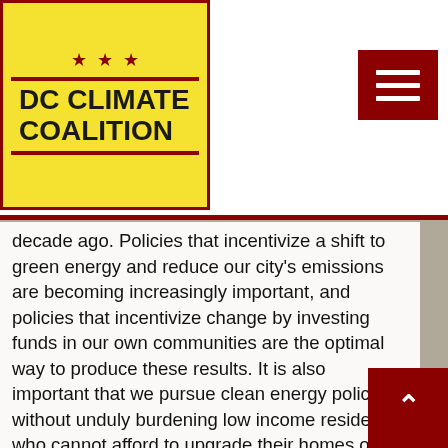[Figure (logo): DC Climate Coalition logo — yellow box with red border, three red stars, two red horizontal lines, bold text 'DC CLIMATE COALITION']
[Figure (other): Hamburger menu icon (three white horizontal bars on dark red/maroon background)]
decade ago. Policies that incentivize a shift to green energy and reduce our city's emissions are becoming increasingly important, and policies that incentivize change by investing funds in our own communities are the optimal way to produce these results. It is also important that we pursue clean energy policy without unduly burdening low income residents who cannot afford to upgrade their homes or modify their energy source with efficiency in mind. To that end, as fees on distribution companies are increased and those costs are passed onto consumers, I would seek to revisit the percentage of carbon rebates going to our low-income residents, currently set at 15 percent. This policy is estimated to increase residential power bills by an
[Figure (other): Scroll-to-top button: dark red square with white upward-pointing caret arrow]